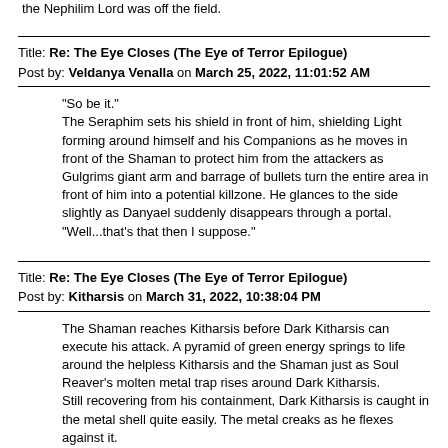the Nephilim Lord was off the field.
Title: Re: The Eye Closes (The Eye of Terror Epilogue)
Post by: Veldanya Venalla on March 25, 2022, 11:01:52 AM
"So be it."
The Seraphim sets his shield in front of him, shielding Light forming around himself and his Companions as he moves in front of the Shaman to protect him from the attackers as Gulgrims giant arm and barrage of bullets turn the entire area in front of him into a potential killzone.  He glances to the side slightly as Danyael suddenly disappears through a portal.
"Well...that's that then I suppose."
Title: Re: The Eye Closes (The Eye of Terror Epilogue)
Post by: Kitharsis on March 31, 2022, 10:38:04 PM
The Shaman reaches Kitharsis before Dark Kitharsis can execute his attack.  A pyramid of green energy springs to life around the helpless Kitharsis and the Shaman just as Soul Reaver's molten metal trap rises around Dark Kitharsis.
Still recovering from his containment, Dark Kitharsis is caught in the metal shell quite easily.  The metal creaks as he flexes against it.